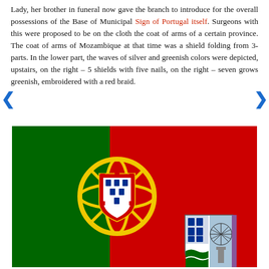Lady, her brother in funeral now gave the branch to introduce for the overall possessions of the Base of Municipal Sign of Portugal itself. Surgeons with this were proposed to be on the cloth the coat of arms of a certain province. The coat of arms of Mozambique at that time was a shield folding from 3-parts. In the lower part, the waves of silver and greenish colors were depicted, upstairs, on the right – 5 shields with five nails, on the right – seven grows greenish, embroidered with a red braid.
[Figure (illustration): Flag of Portugal — vertically divided green (left two-fifths) and red (right three-fifths) with the Portuguese coat of arms centered on the dividing line. A smaller coat of arms of Mozambique municipality (shield with blue castles, blue shields, green waves, and a starburst) overlaid at lower right.]